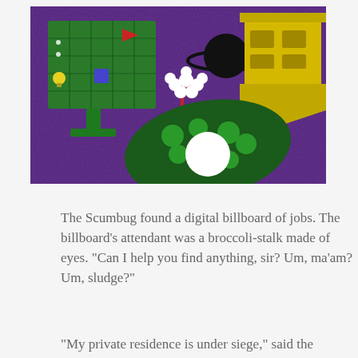[Figure (illustration): A digital scene on a purple textured background. On the left is a green digital billboard (grid-like display on a stand) with a red arrow, light bulb icon, and blue square. In the center is a white floral/eyeball broccoli-stalk creature with a red stem. Above center is a black planet with rings. On the right is a yellow hexagonal building. In the lower center is a large dark green amoeba-like shape with lighter green circles and a white circle.]
The Scumbug found a digital billboard of jobs. The billboard's attendant was a broccoli-stalk made of eyes. “Can I help you find anything, sir? Um, ma’am? Um, sludge?”
“My private residence is under siege,” said the